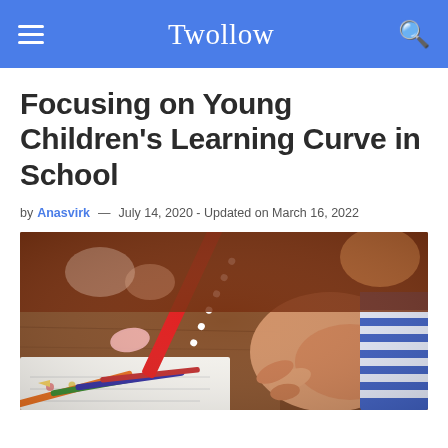Twollow
Focusing on Young Children's Learning Curve in School
by Anasvirk — July 14, 2020 - Updated on March 16, 2022
[Figure (photo): A young child writing on paper with a red polka-dot pencil, surrounded by colourful pencils on a wooden desk. The child is wearing a blue and white striped sleeve.]